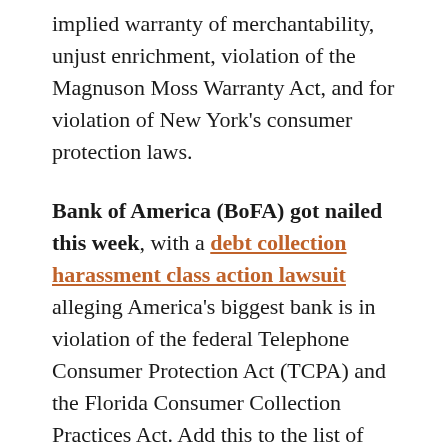implied warranty of merchantability, unjust enrichment, violation of the Magnuson Moss Warranty Act, and for violation of New York's consumer protection laws.
Bank of America (BoFA) got nailed this week, with a debt collection harassment class action lawsuit alleging America's biggest bank is in violation of the federal Telephone Consumer Protection Act (TCPA) and the Florida Consumer Collection Practices Act. Add this to the list of possible legal digressions.
Filed by Broward County resident Marc Katz, the lawsuit, entitled, Marc Katz v. Bank of America NA, case number 0:13-cv-61372, U.S.